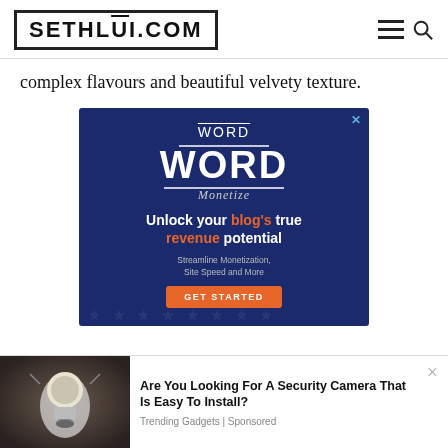SETHLUI.COM
complex flavours and beautiful velvety texture.
[Figure (infographic): Word Mentor advertisement with dark navy background. Text reads: Unlock your blog's true revenue potential. Streamline Monetization, Site Speed and More. GET STARTED button.]
[Figure (photo): Photo of a hand holding a lightbulb-shaped security camera against a dark background.]
Are You Looking For A Security Camera That Is Easy To Install?
Trending Gadgets | Sponsored